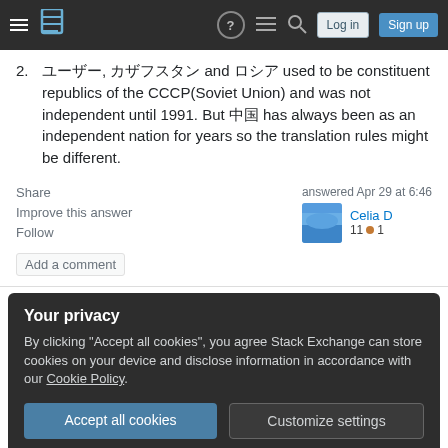Stack Exchange navigation bar with Log in and Sign up buttons
ユーザー, カザフスタン and ロシア used to be constituent republics of the CCCP(Soviet Union) and was not independent until 1991. But 中国 has always been as an independent nation for years so the translation rules might be different.
Share  Improve this answer  Follow
answered Apr 29 at 6:46  Celia D  11 ●1
Add a comment
Your privacy
By clicking "Accept all cookies", you agree Stack Exchange can store cookies on your device and disclose information in accordance with our Cookie Policy.
Accept all cookies  Customize settings